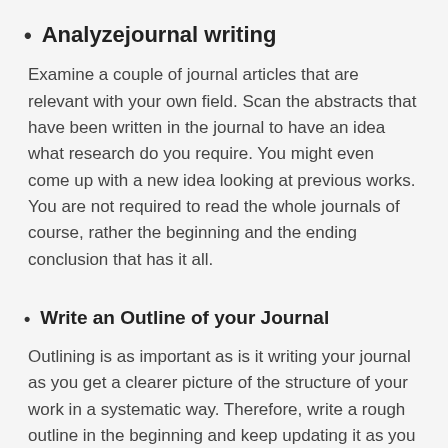Analyzejournal writing
Examine a couple of journal articles that are relevant with your own field. Scan the abstracts that have been written in the journal to have an idea what research do you require. You might even come up with a new idea looking at previous works. You are not required to read the whole journals of course, rather the beginning and the ending conclusion that has it all.
Write an Outline of your Journal
Outlining is as important as is it writing your journal as you get a clearer picture of the structure of your work in a systematic way. Therefore, write a rough outline in the beginning and keep updating it as you proceed.